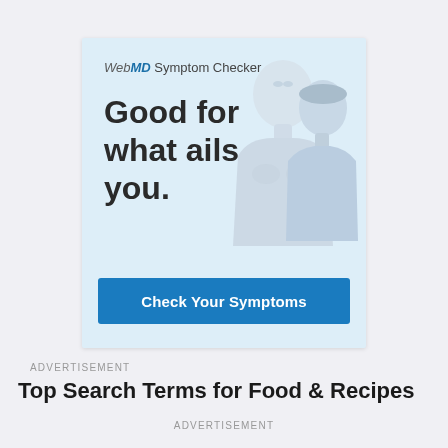[Figure (screenshot): WebMD Symptom Checker advertisement banner with light blue background. Shows two mannequin-style human figures (male and female busts). Text reads 'WebMD Symptom Checker' at top, then 'Good for what ails you.' in large bold font. A blue button at bottom reads 'Check Your Symptoms'.]
ADVERTISEMENT
Top Search Terms for Food & Recipes
ADVERTISEMENT